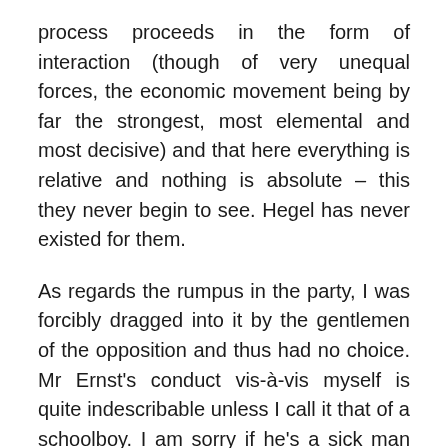process proceeds in the form of interaction (though of very unequal forces, the economic movement being by far the strongest, most elemental and most decisive) and that here everything is relative and nothing is absolute – this they never begin to see. Hegel has never existed for them.
As regards the rumpus in the party, I was forcibly dragged into it by the gentlemen of the opposition and thus had no choice. Mr Ernst's conduct vis-à-vis myself is quite indescribable unless I call it that of a schoolboy. I am sorry if he's a sick man and forced to write for his living. But if someone has an imagination so vivid that